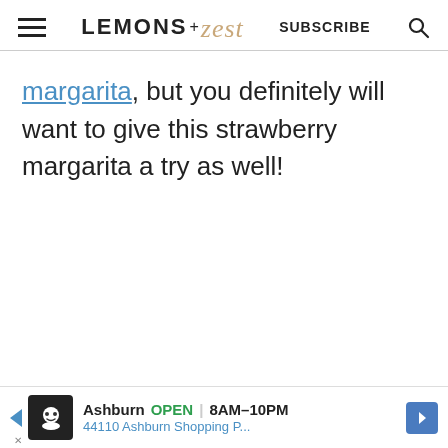LEMONS + zest   SUBSCRIBE
margarita, but you definitely will want to give this strawberry margarita a try as well!
[Figure (screenshot): Advertisement banner: Ashburn OPEN 8AM-10PM, 44110 Ashburn Shopping P...]